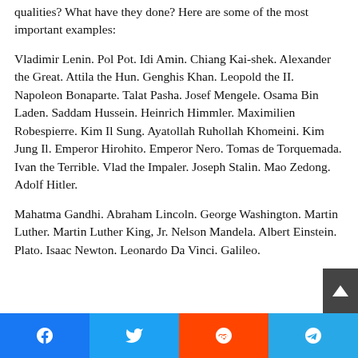qualities? What have they done? Here are some of the most important examples:
Vladimir Lenin. Pol Pot. Idi Amin. Chiang Kai-shek. Alexander the Great. Attila the Hun. Genghis Khan. Leopold the II. Napoleon Bonaparte. Talat Pasha. Josef Mengele. Osama Bin Laden. Saddam Hussein. Heinrich Himmler. Maximilien Robespierre. Kim Il Sung. Ayatollah Ruhollah Khomeini. Kim Jung Il. Emperor Hirohito. Emperor Nero. Tomas de Torquemada. Ivan the Terrible. Vlad the Impaler. Joseph Stalin. Mao Zedong. Adolf Hitler.
Mahatma Gandhi. Abraham Lincoln. George Washington. Martin Luther. Martin Luther King, Jr. Nelson Mandela. Albert Einstein. Plato. Isaac Newton. Leonardo Da Vinci. Galileo.
Facebook Twitter Reddit Telegram